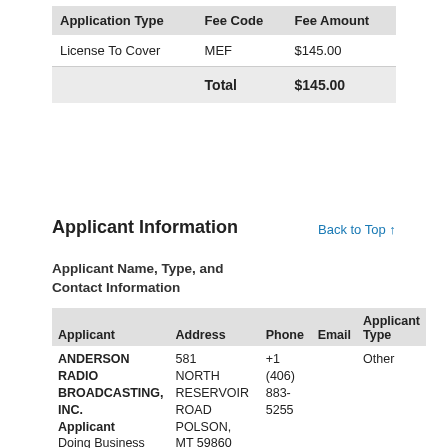| Application Type | Fee Code | Fee Amount |
| --- | --- | --- |
| License To Cover | MEF | $145.00 |
|  | Total | $145.00 |
Applicant Information
Back to Top ↑
Applicant Name, Type, and Contact Information
| Applicant | Address | Phone | Email | Applicant Type |
| --- | --- | --- | --- | --- |
| ANDERSON RADIO BROADCASTING, INC.
Applicant
Doing Business
As: ANDERSON | 581 NORTH RESERVOIR ROAD POLSON, MT 59860 United | +1 (406) 883-5255 |  | Other |